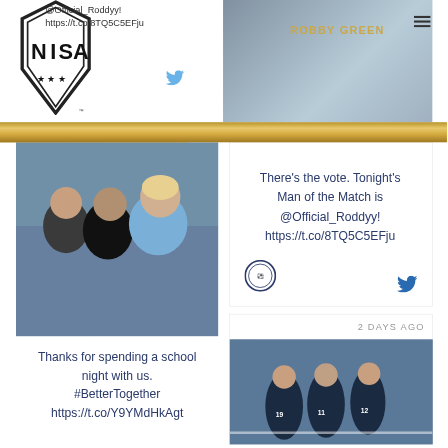[Figure (logo): NSA (National Independent Soccer Association) hexagonal shield logo with stars]
@Official_Roddyy! https://t.co/8TQ5C5EFju
[Figure (photo): Soccer player Robby Green in action, blurred background]
[Figure (photo): Three young boys at a soccer game, one wearing a light blue jersey]
Thanks for spending a school night with us. #BetterTogether https://t.co/Y9YMdHkAgt
There's the vote. Tonight's Man of the Match is @Official_Roddyy! https://t.co/8TQ5C5EFju
2 DAYS AGO
[Figure (photo): Soccer team players in dark navy uniforms huddling together, numbers 19, 11, and 12 visible]